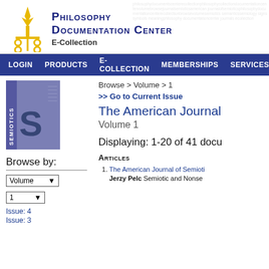Philosophy Documentation Center E-Collection
[Figure (logo): Philosophy Documentation Center torch logo in gold/yellow]
Browse > Volume > 1
>> Go to Current Issue
The American Journal
Volume 1
[Figure (illustration): Semiotics journal cover - blue/purple cover with large S and SEMIOTICS text]
Browse by:
Displaying: 1-20 of 41 docu
Volume
1
Issue: 4
Issue: 3
Articles
The American Journal of Semioti... Jerzy Pelc Semiotic and Nonse...